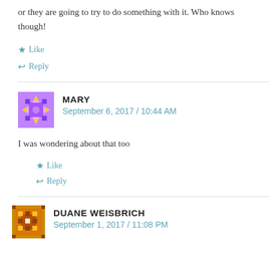or they are going to try to do something with it. Who knows though!
★ Like
↩ Reply
MARY
September 6, 2017 / 10:44 AM
I was wondering about that too
★ Like
↩ Reply
DUANE WEISBRICH
September 1, 2017 / 11:08 PM